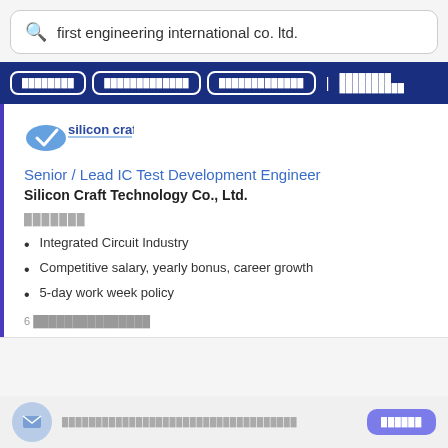first engineering international co. ltd.
navigation filter buttons in Thai
[Figure (logo): Silicon Craft company logo with checkmark and blue oval]
Senior / Lead IC Test Development Engineer
Silicon Craft Technology Co., Ltd.
Thai text (category/type label)
Integrated Circuit Industry
Competitive salary, yearly bonus, career growth
5-day work week policy
6 Thai text (time ago)
Thai notification/footer text
Thai button text